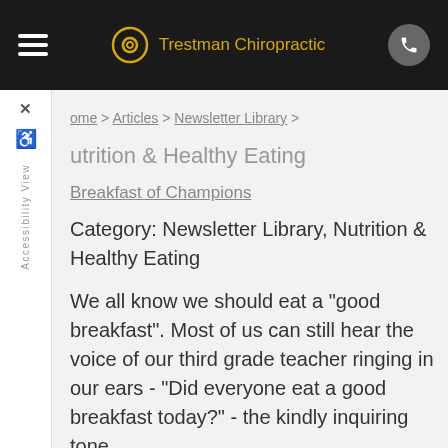[Figure (logo): Trestman Chiropractic logo with golden spiral icon and text]
Home > Articles > Newsletter Library >
Nutrition & Healthy Eating
Breakfast of Champions
Category: Newsletter Library, Nutrition & Healthy Eating
We all know we should eat a "good breakfast". Most of us can still hear the voice of our third grade teacher ringing in our ears - "Did everyone eat a good breakfast today?" - the kindly inquiring tone